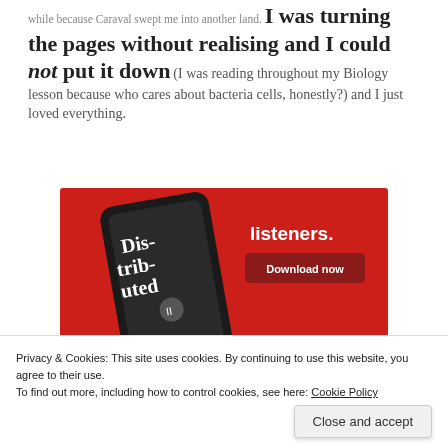while because Caraval swept me into another land. I was turning the pages without realising and I could not put it down (I was reading throughout my Biology lesson because who cares about bacteria cells, honestly?) and I just loved everything.
[Figure (screenshot): Advertisement showing a smartphone with a podcast app open, red background, text reads 'Distributed listeners.' with a 'Download now' button.]
Privacy & Cookies: This site uses cookies. By continuing to use this website, you agree to their use.
To find out more, including how to control cookies, see here: Cookie Policy
Close and accept